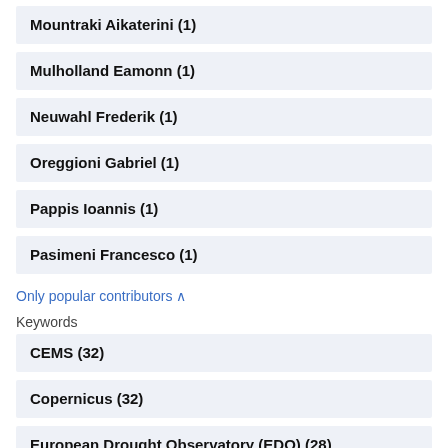Mountraki Aikaterini (1)
Mulholland Eamonn (1)
Neuwahl Frederik (1)
Oreggioni Gabriel (1)
Pappis Ioannis (1)
Pasimeni Francesco (1)
Only popular contributors ∧
Keywords
CEMS (32)
Copernicus (32)
European Drought Observatory (EDO) (28)